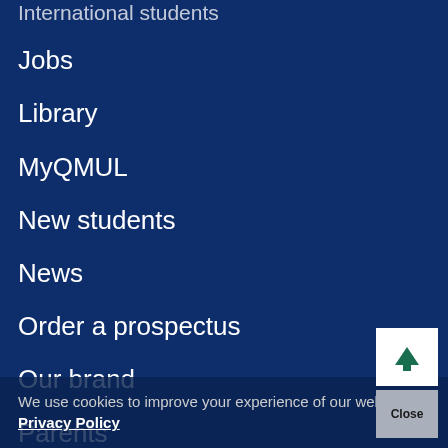International students
Jobs
Library
MyQMUL
New students
News
Order a prospectus
Our brand
Parents
Professional services departments
Public Engagement
QMplus
We use cookies to improve your experience of our website. Privacy Policy